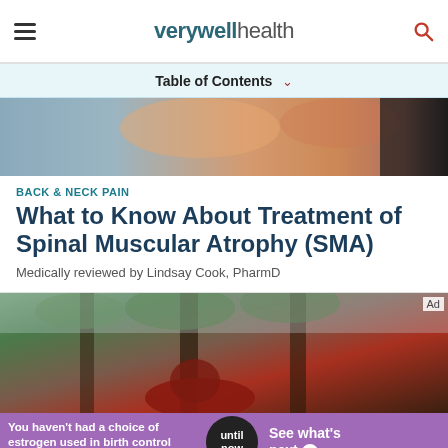verywell health
Table of Contents
[Figure (photo): Partial view of people, blurred, orange and grey tones — top article image strip]
BACK & NECK PAIN
What to Know About Treatment of Spinal Muscular Atrophy (SMA)
Medically reviewed by Lindsay Cook, PharmD
[Figure (photo): Person sitting outdoors near palm trees, wearing red, with blurred green foliage background — main article photo]
You haven't had a choice of estrogen used in birth control pills until now See what's next PM-US-NEX-0188 4/22